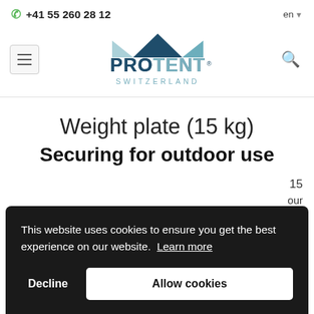+41 55 260 28 12  en
[Figure (logo): PROTENT SWITZERLAND logo with mountain peak graphic in dark teal]
Weight plate (15 kg)
Securing for outdoor use
This website uses cookies to ensure you get the best experience on our website. Learn more
Decline  Allow cookies